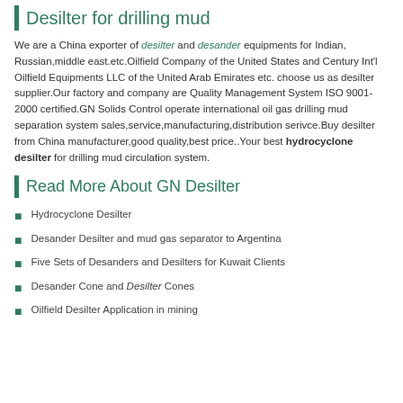Desilter for drilling mud
We are a China exporter of desilter and desander equipments for Indian, Russian,middle east.etc.Oilfield Company of the United States and Century Int'l Oilfield Equipments LLC of the United Arab Emirates etc. choose us as desilter supplier.Our factory and company are Quality Management System ISO 9001-2000 certified.GN Solids Control operate international oil gas drilling mud separation system sales,service,manufacturing,distribution serivce.Buy desilter from China manufacturer,good quality,best price..Your best hydrocyclone desilter for drilling mud circulation system.
Read More About GN Desilter
Hydrocyclone Desilter
Desander Desilter and mud gas separator to Argentina
Five Sets of Desanders and Desilters for Kuwait Clients
Desander Cone and Desilter Cones
Oilfield Desilter Application in mining